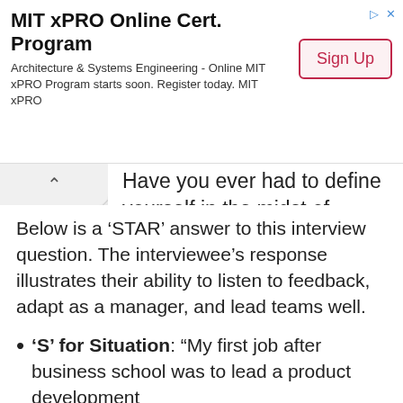[Figure (screenshot): MIT xPRO Online Cert. Program advertisement banner with Sign Up button]
Have you ever had to define yourself in the midst of criticism, and did you succeed?"
Below is a ‘STAR’ answer to this interview question. The interviewee’s response illustrates their ability to listen to feedback, adapt as a manager, and lead teams well.
‘S’ for Situation: “My first job after business school was to lead a product development